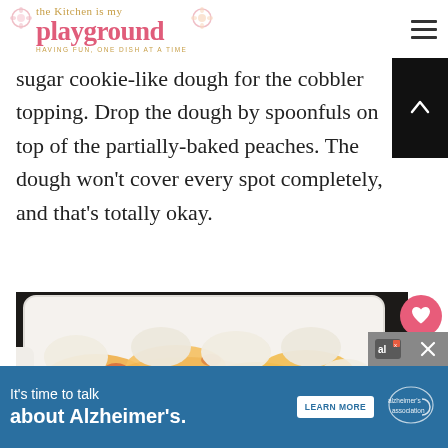the Kitchen is my playground — having fun, one dish at a time
sugar cookie-like dough for the cobbler topping. Drop the dough by spoonfuls on top of the partially-baked peaches. The dough won't cover every spot completely, and that's totally okay.
[Figure (photo): A white baking dish with peach cobbler — sliced peaches with red skins visible, topped with dollops of cookie-like dough, partially baked. Dark background.]
WHAT'S NEXT → Peach Cobbler No-Machine...
It's time to talk about Alzheimer's. LEARN MORE